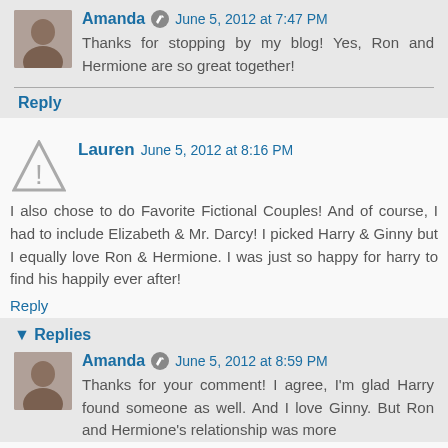Amanda · June 5, 2012 at 7:47 PM
Thanks for stopping by my blog! Yes, Ron and Hermione are so great together!
Reply
Lauren June 5, 2012 at 8:16 PM
I also chose to do Favorite Fictional Couples! And of course, I had to include Elizabeth & Mr. Darcy! I picked Harry & Ginny but I equally love Ron & Hermione. I was just so happy for harry to find his happily ever after!
Reply
▾ Replies
Amanda · June 5, 2012 at 8:59 PM
Thanks for your comment! I agree, I'm glad Harry found someone as well. And I love Ginny. But Ron and Hermione's relationship was more